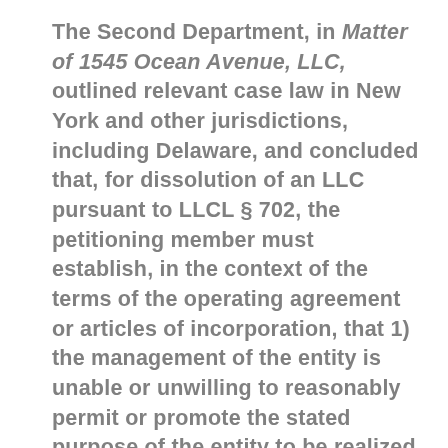The Second Department, in Matter of 1545 Ocean Avenue, LLC, outlined relevant case law in New York and other jurisdictions, including Delaware, and concluded that, for dissolution of an LLC pursuant to LLCL § 702, the petitioning member must establish, in the context of the terms of the operating agreement or articles of incorporation, that 1) the management of the entity is unable or unwilling to reasonably permit or promote the stated purpose of the entity to be realized or achieved; or 2) continuing the entity is financially unfeasible. 72 AD3d at 131. The Court noted that dissolution is a drastic remedy, id.,